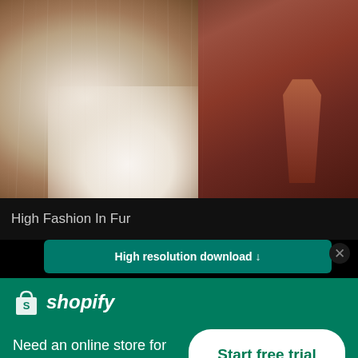[Figure (photo): Close-up fashion photo of a person wearing a white fur coat with a brown/rust silk dress underneath. The fur has a fluffy, textured appearance. The background is dark.]
High Fashion In Fur
High resolution download ↓
[Figure (logo): Shopify logo: shopping bag icon with 'S' followed by italic text 'shopify' in white on green background]
Need an online store for your business?
Start free trial